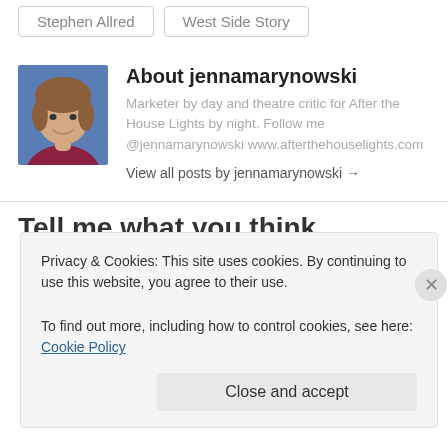Stephen Allred
West Side Story
About jennamarynowski
Marketer by day and theatre critic for After the House Lights by night. Follow me @jennamarynowski www.afterthehouselights.com
View all posts by jennamarynowski →
Tell me what you think
Privacy & Cookies: This site uses cookies. By continuing to use this website, you agree to their use.
To find out more, including how to control cookies, see here: Cookie Policy
Close and accept